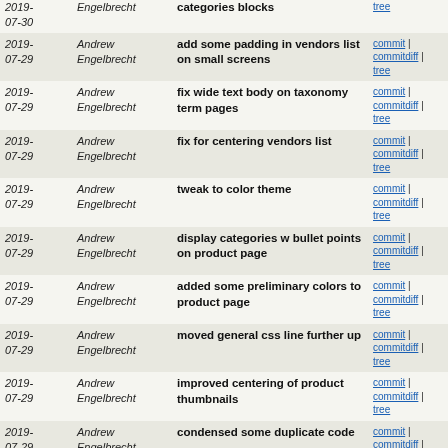| Date | Author | Message | Links |
| --- | --- | --- | --- |
| 2019-07-29 | Andrew Engelbrecht | add some padding in vendors list on small screens | commit | commitdiff | tree |
| 2019-07-29 | Andrew Engelbrecht | fix wide text body on taxonomy term pages | commit | commitdiff | tree |
| 2019-07-29 | Andrew Engelbrecht | fix for centering vendors list | commit | commitdiff | tree |
| 2019-07-29 | Andrew Engelbrecht | tweak to color theme | commit | commitdiff | tree |
| 2019-07-29 | Andrew Engelbrecht | display categories w bullet points on product page | commit | commitdiff | tree |
| 2019-07-29 | Andrew Engelbrecht | added some preliminary colors to product page | commit | commitdiff | tree |
| 2019-07-29 | Andrew Engelbrecht | moved general css line further up | commit | commitdiff | tree |
| 2019-07-29 | Andrew Engelbrecht | improved centering of product thumbnails | commit | commitdiff | tree |
| 2019-07-29 | Andrew Engelbrecht | condensed some duplicate code | commit | commitdiff | tree |
| 2019-07-29 | Andrew Engelbrecht | added css code for taxonomy term page headers | commit | commitdiff | tree |
| 2019-07-29 | Andrew Engelbrecht | improved element spacing in edge case scenario | commit | commitdiff | tree |
| 2019-07-29 | Andrew Engelbrecht | improved product arrangement for x-small screens | commit | commitdiff | tree |